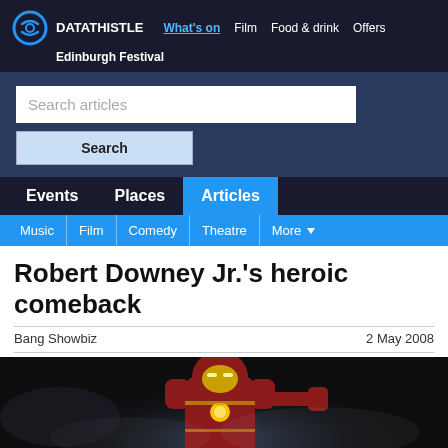DATA THISTLE | What's on  Film  Food & drink  Offers | Edinburgh Festival
Search articles
Search
Events  Places  Articles
Music | Film | Comedy | Theatre | More
Robert Downey Jr.'s heroic comeback
Bang Showbiz
2 May 2008
[Figure (photo): Iron Man character in red and gold armored suit flying through smoky atmosphere]